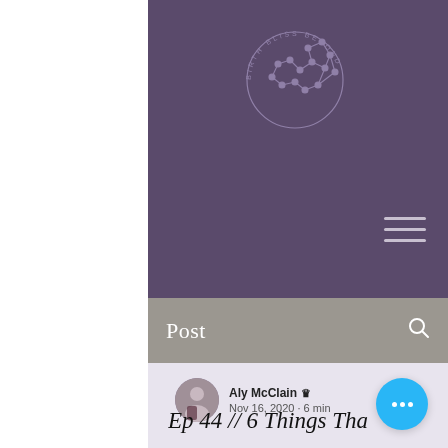[Figure (logo): Birth Bliss Beyond circular logo with molecular chain structure on purple background]
Post
Aly McClain 👑
Nov 16, 2020 · 6 min
Ep 44 // 6 Things That Could Be Holding Y...